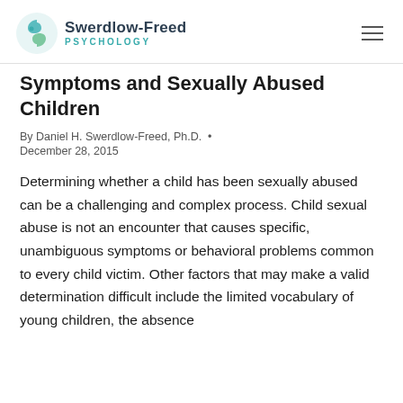Swerdlow-Freed Psychology
Symptoms and Sexually Abused Children
By Daniel H. Swerdlow-Freed, Ph.D.  •  December 28, 2015
Determining whether a child has been sexually abused can be a challenging and complex process. Child sexual abuse is not an encounter that causes specific, unambiguous symptoms or behavioral problems common to every child victim. Other factors that may make a valid determination difficult include the limited vocabulary of young children, the absence